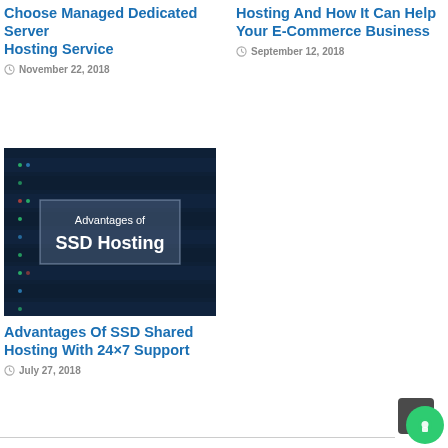Choose Managed Dedicated Server Hosting Service
November 22, 2018
Hosting And How It Can Help Your E-Commerce Business
September 12, 2018
[Figure (photo): Dark blue server rack background with centered overlay box showing text 'Advantages of SSD Hosting']
Advantages Of SSD Shared Hosting With 24×7 Support
July 27, 2018